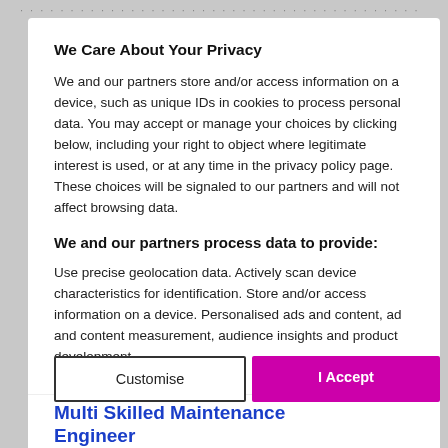We Care About Your Privacy
We and our partners store and/or access information on a device, such as unique IDs in cookies to process personal data. You may accept or manage your choices by clicking below, including your right to object where legitimate interest is used, or at any time in the privacy policy page. These choices will be signaled to our partners and will not affect browsing data.
We and our partners process data to provide:
Use precise geolocation data. Actively scan device characteristics for identification. Store and/or access information on a device. Personalised ads and content, ad and content measurement, audience insights and product development.
List of Partners (Vendors)
Customise
I Accept
Multi Skilled Maintenance Engineer